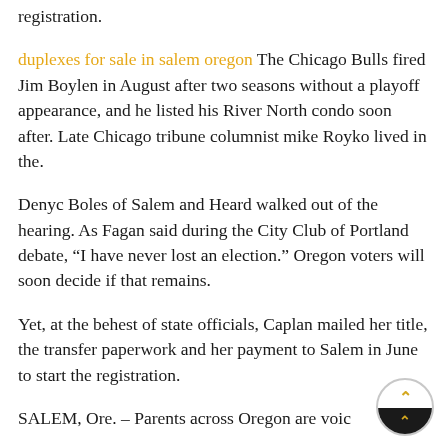registration.
duplexes for sale in salem oregon The Chicago Bulls fired Jim Boylen in August after two seasons without a playoff appearance, and he listed his River North condo soon after. Late Chicago tribune columnist mike Royko lived in the.
Denyc Boles of Salem and Heard walked out of the hearing. As Fagan said during the City Club of Portland debate, “I have never lost an election.” Oregon voters will soon decide if that remains.
Yet, at the behest of state officials, Caplan mailed her title, the transfer paperwork and her payment to Salem in June to start the registration.
SALEM, Ore. – Parents across Oregon are voic…